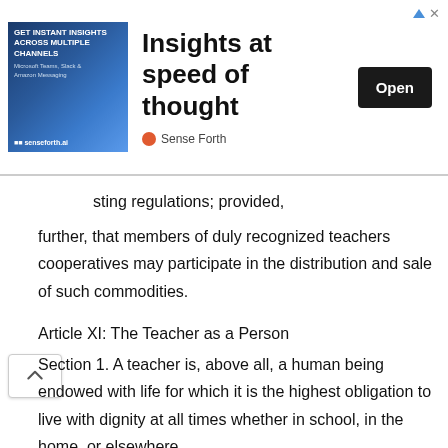[Figure (other): Advertisement banner: 'Insights at speed of thought' by Sense Forth with an Open button]
sting regulations; provided,
further, that members of duly recognized teachers cooperatives may participate in the distribution and sale of such commodities.
Article XI: The Teacher as a Person
Section 1. A teacher is, above all, a human being endowed with life for which it is the highest obligation to live with dignity at all times whether in school, in the home, or elsewhere.